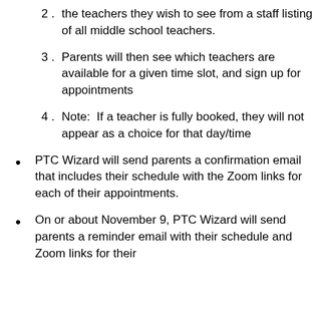2.  the teachers they wish to see from a staff listing of all middle school teachers.
3.  Parents will then see which teachers are available for a given time slot, and sign up for appointments
4.  Note:  If a teacher is fully booked, they will not appear as a choice for that day/time
PTC Wizard will send parents a confirmation email that includes their schedule with the Zoom links for each of their appointments.
On or about November 9, PTC Wizard will send parents a reminder email with their schedule and Zoom links for their